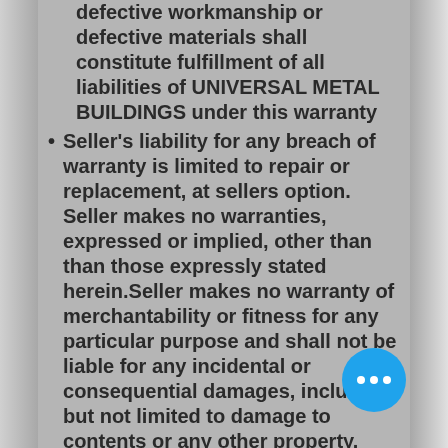defective workmanship or defective materials shall constitute fulfillment of all liabilities of UNIVERSAL METAL BUILDINGS under this warranty
Seller's liability for any breach of warranty is limited to repair or replacement, at sellers option. Seller makes no warranties, expressed or implied, other than than those expressly stated herein.Seller makes no warranty of merchantability or fitness for any particular purpose and shall not be liable for any incidental or consequential damages, including but not limited to damage to contents or any other property.
Buyer agrees any legal disagreement or litigation will take place in Van Zandt county Texas and In no circumstances will UNIVERSAL METAL